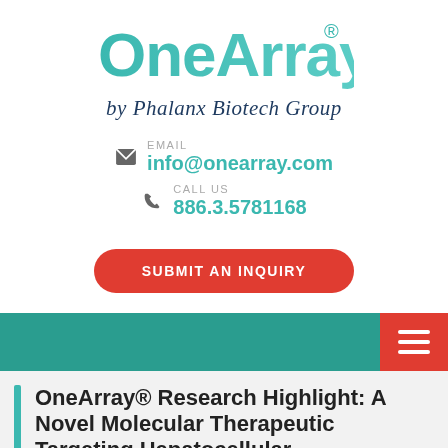[Figure (logo): OneArray logo by Phalanx Biotech Group - teal gradient lettering with registered trademark symbol, italic subtitle]
EMAIL
info@onearray.com
CALL US
886.3.5781168
SUBMIT AN INQUIRY
[Figure (other): Teal navigation bar with red hamburger menu button on the right]
OneArray® Research Highlight: A Novel Molecular Therapeutic Targeting Hepatocellular